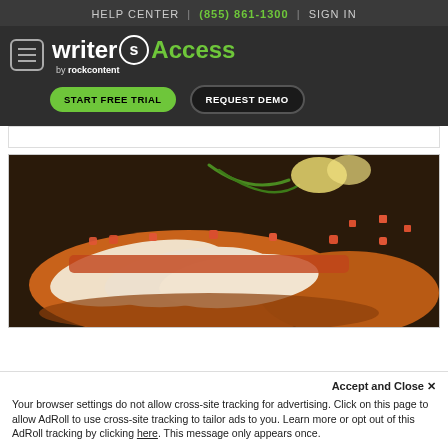HELP CENTER | (855) 861-1300 | SIGN IN
[Figure (logo): WriterAccess by rockcontent logo with hamburger menu, START FREE TRIAL and REQUEST DEMO buttons on dark background]
[Figure (photo): Sliced cooked chicken breast with tomato topping, green beans, and lemon garnish on a dark plate]
Accept and Close ✕
Your browser settings do not allow cross-site tracking for advertising. Click on this page to allow AdRoll to use cross-site tracking to tailor ads to you. Learn more or opt out of this AdRoll tracking by clicking here. This message only appears once.